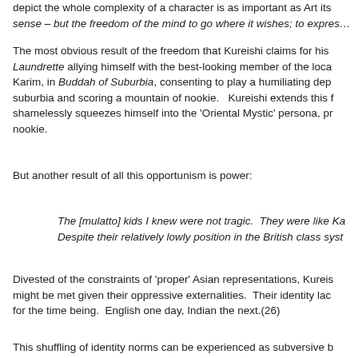depict the whole complexity of a character is as important as Art its sense – but the freedom of the mind to go where it wishes; to expres…
The most obvious result of the freedom that Kureishi claims for his Laundrette allying himself with the best-looking member of the loca Karim, in Buddah of Suburbia, consenting to play a humiliating dep suburbia and scoring a mountain of nookie. Kureishi extends this f shamelessly squeezes himself into the 'Oriental Mystic' persona, pr nookie.
But another result of all this opportunism is power:
The [mulatto] kids I knew were not tragic. They were like Ka Despite their relatively lowly position in the British class syst
Divested of the constraints of 'proper' Asian representations, Kureis might be met given their oppressive externalities. Their identity lac for the time being. English one day, Indian the next.(26)
This shuffling of identity norms can be experienced as subversive b